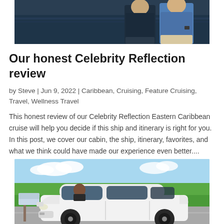[Figure (photo): Top portion of a photo showing two people standing together, likely outdoors near water]
Our honest Celebrity Reflection review
by Steve | Jun 9, 2022 | Caribbean, Cruising, Feature Cruising, Travel, Wellness Travel
This honest review of our Celebrity Reflection Eastern Caribbean cruise will help you decide if this ship and itinerary is right for you. In this post, we cover our cabin, the ship, itinerary, favorites, and what we think could have made our experience even better....
[Figure (photo): Photo of a white minivan/SUV parked on a road with green grass and blue sky in background, person visible in driver's window]